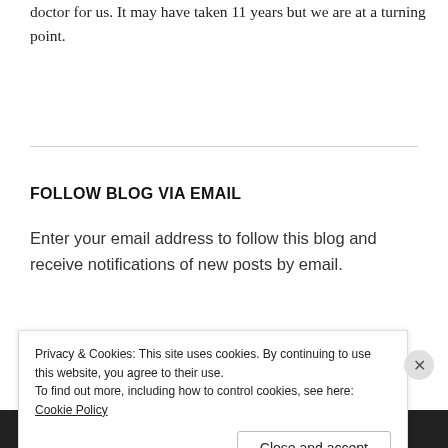doctor for us. It may have taken 11 years but we are at a turning point.
FOLLOW BLOG VIA EMAIL
Enter your email address to follow this blog and receive notifications of new posts by email.
Privacy & Cookies: This site uses cookies. By continuing to use this website, you agree to their use.
To find out more, including how to control cookies, see here: Cookie Policy
Close and accept